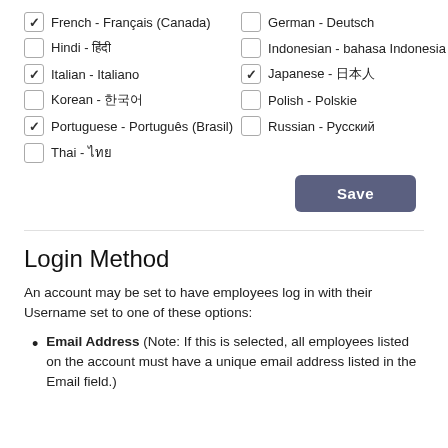French - Français (Canada) [checked]
German - Deutsch [unchecked]
Hindi - हिंदी [unchecked]
Indonesian - bahasa Indonesia [unchecked]
Italian - Italiano [checked]
Japanese - 日本人 [checked]
Korean - 한국어 [unchecked]
Polish - Polskie [unchecked]
Portuguese - Português (Brasil) [checked]
Russian - Русский [unchecked]
Thai - ไทย [unchecked]
Save
Login Method
An account may be set to have employees log in with their Username set to one of these options:
Email Address (Note: If this is selected, all employees listed on the account must have a unique email address listed in the Email field.)